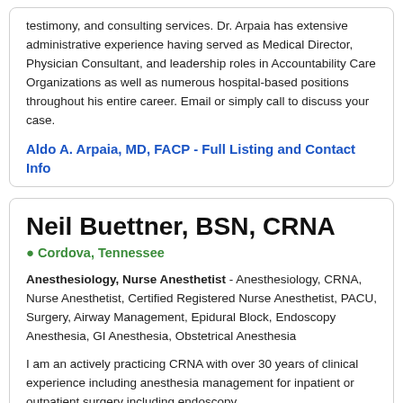testimony, and consulting services. Dr. Arpaia has extensive administrative experience having served as Medical Director, Physician Consultant, and leadership roles in Accountability Care Organizations as well as numerous hospital-based positions throughout his entire career. Email or simply call to discuss your case.
Aldo A. Arpaia, MD, FACP - Full Listing and Contact Info
Neil Buettner, BSN, CRNA
Cordova, Tennessee
Anesthesiology, Nurse Anesthetist - Anesthesiology, CRNA, Nurse Anesthetist, Certified Registered Nurse Anesthetist, PACU, Surgery, Airway Management, Epidural Block, Endoscopy Anesthesia, GI Anesthesia, Obstetrical Anesthesia
I am an actively practicing CRNA with over 30 years of clinical experience including anesthesia management for inpatient or outpatient surgery including endoscopy,